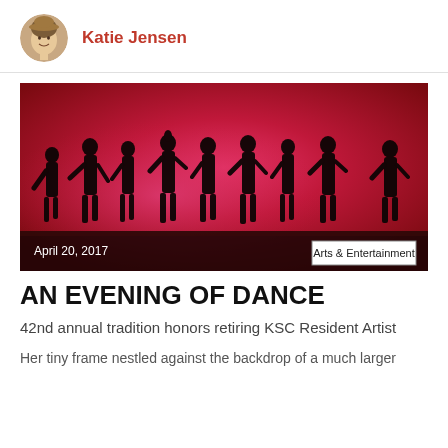Katie Jensen
[Figure (photo): Silhouettes of approximately 9-10 dancers standing on a stage against a vivid red/pink gradient background. Date overlay reads April 20, 2017. Category badge reads Arts & Entertainment.]
AN EVENING OF DANCE
42nd annual tradition honors retiring KSC Resident Artist
Her tiny frame nestled against the backdrop of a much larger